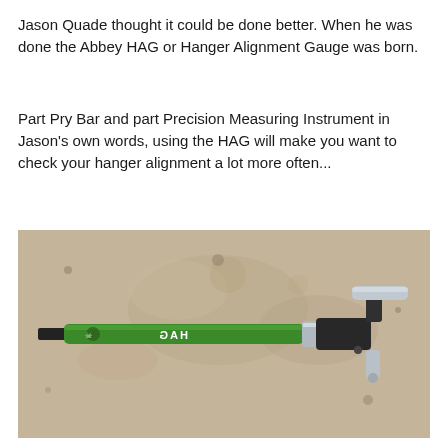Jason Quade thought it could be done better. When he was done the Abbey HAG or Hanger Alignment Gauge was born.
Part Pry Bar and part Precision Measuring Instrument in Jason's own words, using the HAG will make you want to check your hanger alignment a lot more often...
[Figure (photo): Photograph of the Abbey HAG (Hanger Alignment Gauge) tool lying on a concrete surface. The tool consists of a long green anodized aluminum rod with a black tip on the left end and a black T-shaped bracket with a silver crossbar handle on the right end. The word 'HAG' is printed in white on the green rod.]